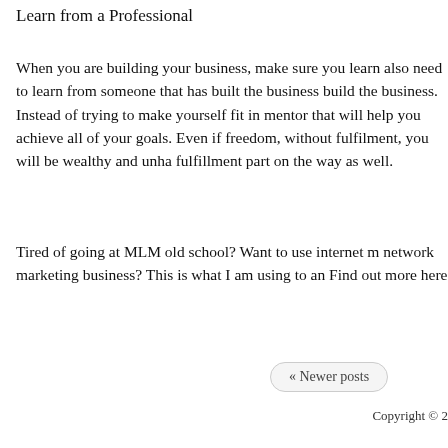Learn from a Professional
When you are building your business, make sure you learn also need to learn from someone that has built the business build the business. Instead of trying to make yourself fit in mentor that will help you achieve all of your goals. Even if freedom, without fulfilment, you will be wealthy and unha fulfillment part on the way as well.
Tired of going at MLM old school? Want to use internet m network marketing business? This is what I am using to an Find out more here
« Newer posts
Copyright © 2